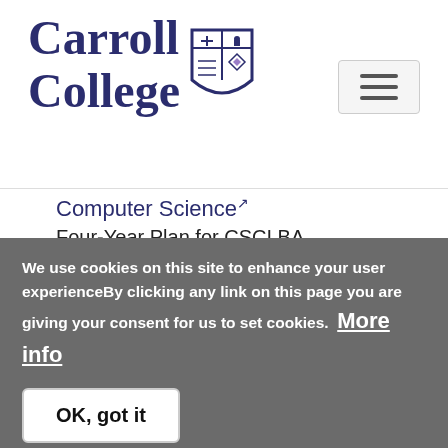[Figure (logo): Carroll College logo with shield crest and serif text]
Computer Science
Four-Year Plan for CSCI.BA
Data Science
Four-Year Plan for DSCI.BA
Education: Secondary/Social Studies
Degree Requirements for SSSE.BA
We use cookies on this site to enhance your user experienceBy clicking any link on this page you are giving your consent for us to set cookies. More info
OK, got it